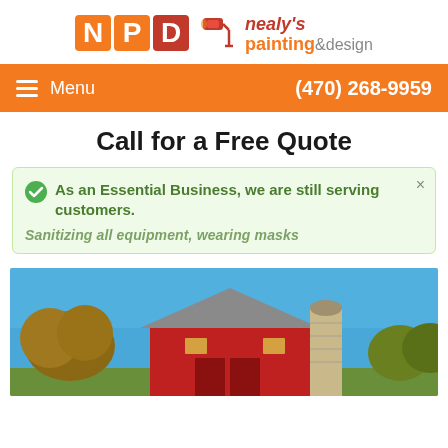[Figure (logo): Nealy's Painting & Design logo with NPD letter blocks in orange and red, paint roller graphic, company name in red and orange italic text]
Menu   (470) 268-9959
Call for a Free Quote
As an Essential Business, we are still serving customers.
Sanitizing all equipment, wearing masks
[Figure (photo): Red barn with silo against a clear blue sky, with autumn trees in background]